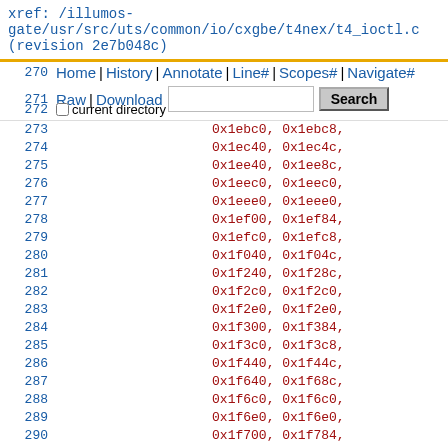xref: /illumos-gate/usr/src/uts/common/io/cxgbe/t4nex/t4_ioctl.c (revision 2e7b048c)
Home | History | Annotate | Line# | Scopes# | Navigate# | Raw | Download | Search | current directory
270 0x1ea50, 0x1ea60,
271 0x1ebc0, 0x1ebc8,
272 0x1ec40, 0x1ec4c,
273 0x1ee40, 0x1ee8c,
274 0x1eec0, 0x1eec0,
275 0x1eee0, 0x1eee0,
276 0x1ef00, 0x1ef84,
277 0x1efc0, 0x1efc8,
278 0x1f040, 0x1f04c,
279 0x1f240, 0x1f28c,
280 0x1f2c0, 0x1f2c0,
281 0x1f2e0, 0x1f2e0,
282 0x1f300, 0x1f384,
283 0x1f3c0, 0x1f3c8,
284 0x1f440, 0x1f44c,
285 0x1f640, 0x1f68c,
286 0x1f6c0, 0x1f6c0,
287 0x1f6e0, 0x1f6e0,
288 0x1f700, 0x1f784,
289 0x1f7c0, 0x1f7c8,
290 0x1f840, 0x1f84c,
291 0x1fa40, 0x1fa8c,
292 0x1fac0, 0x1fac0,
293 0x1fae0, 0x1fae0,
294